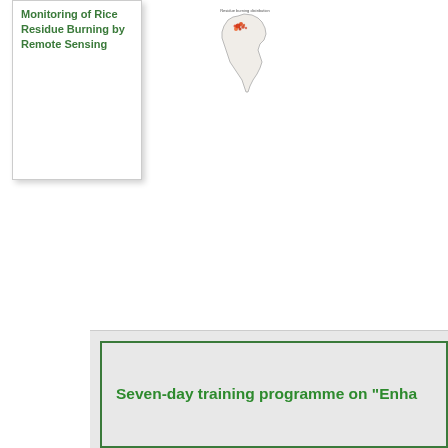Monitoring of Rice Residue Burning by Remote Sensing
[Figure (map): Map of India showing rice residue burning hotspots marked in red/orange, concentrated in the northern region (Punjab/Haryana area).]
Seven-day training programme on "Enha